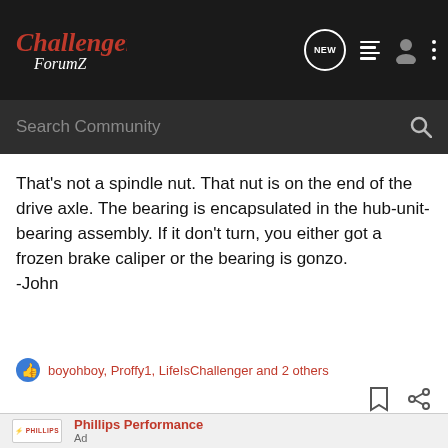Challenger ForumZ — NEW, list, user, more icons header with search bar
That's not a spindle nut. That nut is on the end of the drive axle. The bearing is encapsulated in the hub-unit-bearing assembly. If it don't turn, you either got a frozen brake caliper or the bearing is gonzo.
-John
boyohboy, Proffy1, LifeIsChallenger and 2 others
Phillips Performance
Ad
Phillips Performance Fender Flares for Dodge Challengers
Get more tire under your Challenger.